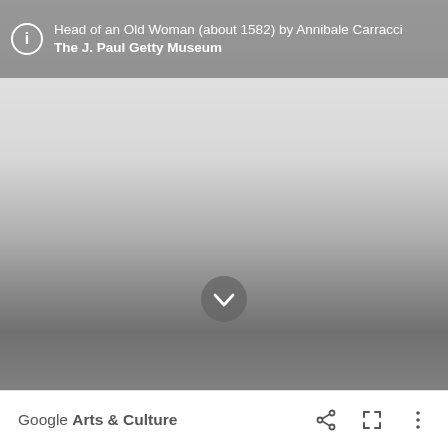[Figure (screenshot): Google Arts & Culture mobile app screenshot showing a painting viewer. The main area shows a gradient from light gray (top) to dark gray (bottom), representing a loading or obscured view of the artwork 'Head of an Old Woman (about 1582)' by Annibale Carracci from The J. Paul Getty Museum. A dark semi-transparent header bar at the top contains an info icon and the artwork title and museum name. A chevron/down-arrow circular button appears near the bottom of the image area. The bottom footer bar is white with 'Google Arts & Culture' text on the left and share, fullscreen, and more-options icons on the right.]
Head of an Old Woman (about 1582) by Annibale Carracci
The J. Paul Getty Museum
Google Arts & Culture